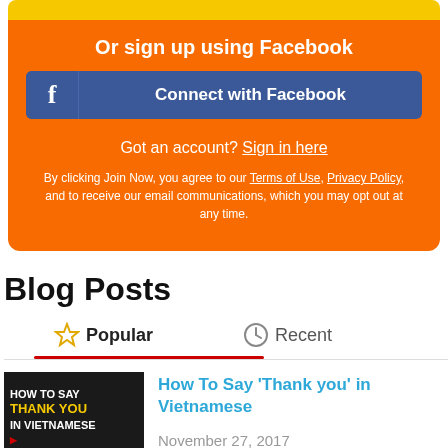Or sign up using Facebook
Connect with Facebook
Got an account? Sign in here
By clicking Join Now, you agree to our Terms of Use, Privacy Policy, and to receive our email communications, which you may opt out at any time.
Blog Posts
Popular
Recent
How To Say 'Thank you' in Vietnamese
November 27, 2017
In most cultures, it is custom to express gratitude in some way or